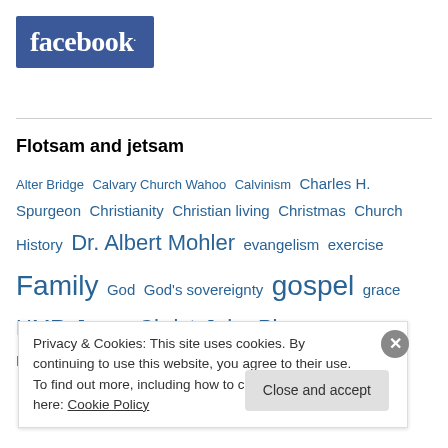[Figure (logo): Facebook logo: white bold text 'facebook.' on blue background]
Flotsam and jetsam
Alter Bridge  Calvary Church Wahoo  Calvinism  Charles H. Spurgeon  Christianity  Christian living  Christmas  Church History  Dr. Albert Mohler  evangelism  exercise  Family  God  God's sovereignty  gospel  grace  HMR  Jesus Christ  John Piper  Justification  Local church  Mark Driscoll  marriage  Michael Rue
Privacy & Cookies: This site uses cookies. By continuing to use this website, you agree to their use.
To find out more, including how to control cookies, see here: Cookie Policy
Close and accept